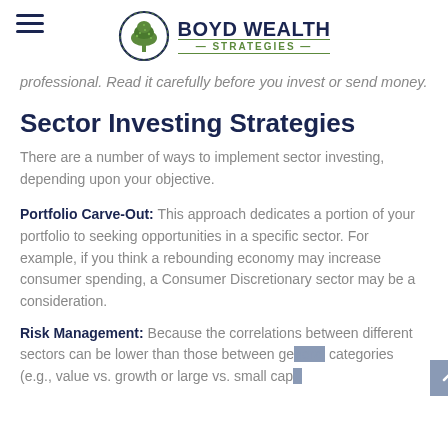Boyd Wealth Strategies
professional. Read it carefully before you invest or send money.
Sector Investing Strategies
There are a number of ways to implement sector investing, depending upon your objective.
Portfolio Carve-Out: This approach dedicates a portion of your portfolio to seeking opportunities in a specific sector. For example, if you think a rebounding economy may increase consumer spending, a Consumer Discretionary sector may be a consideration.
Risk Management: Because the correlations between different sectors can be lower than those between general categories (e.g., value vs. growth or large vs. small cap),